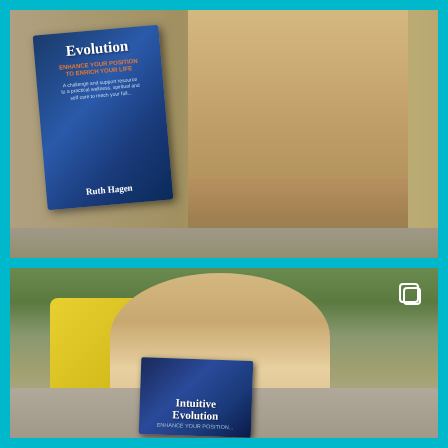[Figure (photo): Top photo: A book titled 'Intuitive Evolution' by Ruth Hagen with a dark blue cover, propped against a surface next to a golden fluffy dog lying on a grey outdoor sofa cushion.]
[Figure (photo): Bottom photo: A golden/cream coloured fluffy dog (possibly a Labradoodle) sitting upright on a grey outdoor sofa with a bright yellow cushion beside it and trees in the background. The book 'Intuitive Evolution' is visible at the bottom of the image. An Instagram duplicate/layers icon is visible in the top right corner.]